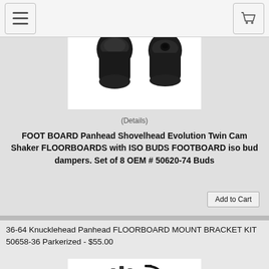[Figure (screenshot): Navigation bar with hamburger menu icon on left and shopping cart icon on right]
[Figure (photo): Partial view of ISO bud dampers (black rubber components) on white background]
(Details)
FOOT BOARD Panhead Shovelhead Evolution Twin Cam Shaker FLOORBOARDS with ISO BUDS FOOTBOARD iso bud dampers. Set of 8 OEM # 50620-74 Buds
Add to Cart
36-64 Knucklehead Panhead FLOORBOARD MOUNT BRACKET KIT 50658-36 Parkerized - $55.00
[Figure (photo): Floorboard mount bracket kit parts laid out on white background, including brackets, bolts, washers, and hardware, all parkerized (dark finish)]